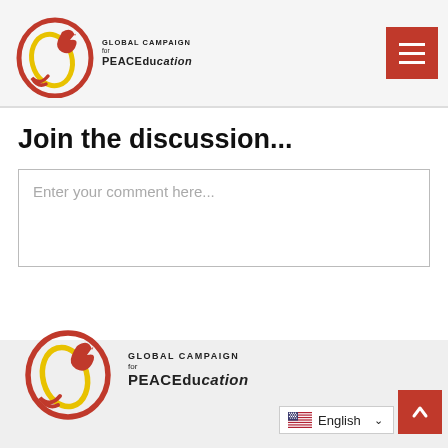[Figure (logo): Global Campaign for PEACEducation logo in header - red circular dove with yellow element and text]
[Figure (other): Red hamburger menu button with three white lines]
Join the discussion...
Enter your comment here...
[Figure (logo): Global Campaign for PEACEducation large footer logo - red circular dove with yellow element and text]
English
[Figure (other): Red back-to-top button with upward chevron]